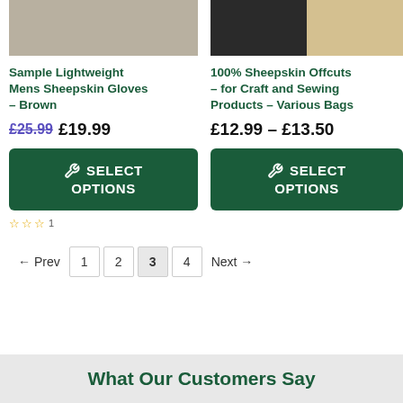[Figure (photo): Product photo showing light wood grain / sheepskin gloves surface]
Sample Lightweight Mens Sheepskin Gloves – Brown
£25.99 £19.99
SELECT OPTIONS
☆☆☆ 1
[Figure (photo): Product photo showing dark sheepskin offcuts on left and blonde sheepskin on right]
100% Sheepskin Offcuts – for Craft and Sewing Products – Various Bags
£12.99 – £13.50
SELECT OPTIONS
← Prev  1  2  3  4  Next →
What Our Customers Say